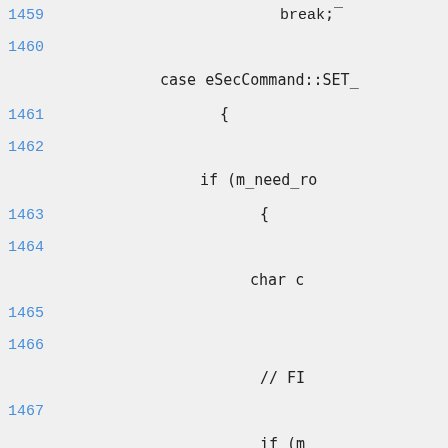1459    break;
1460
     case eSecCommand::SET_
1461        {
1462
          if (m_need_ro
1463              {
1464
                char c
1465
1466
                // FI
1467
                if (m_
1468
1469
                else i
1470